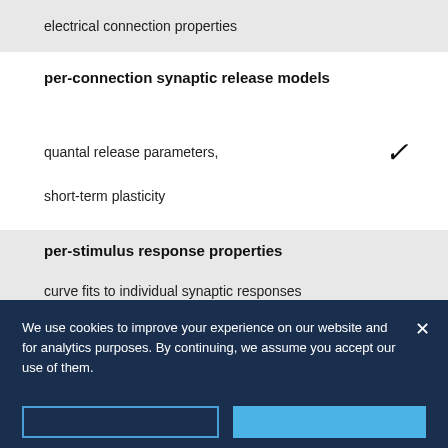electrical connection properties
per-connection synaptic release models
quantal release parameters,
short-term plasticity
per-stimulus response properties
curve fits to individual synaptic responses
per-stimulus spike properties
timing and measurements of individual presynaptic spikes
We use cookies to improve your experience on our website and for analytics purposes. By continuing, we assume you accept our use of them.